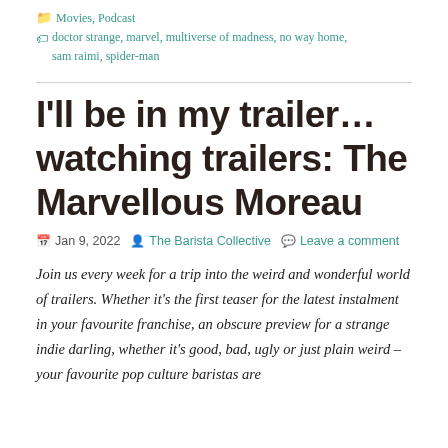Movies, Podcast
doctor strange, marvel, multiverse of madness, no way home, sam raimi, spider-man
I'll be in my trailer… watching trailers: The Marvellous Moreau
Jan 9, 2022   The Barista Collective   Leave a comment
Join us every week for a trip into the weird and wonderful world of trailers. Whether it's the first teaser for the latest instalment in your favourite franchise, an obscure preview for a strange indie darling, whether it's good, bad, ugly or just plain weird – your favourite pop culture baristas are